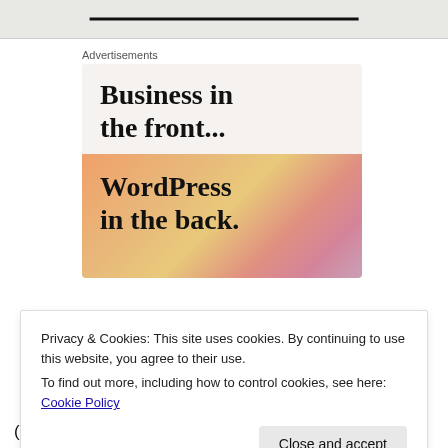[Figure (screenshot): Blurred/redacted page header with a dark horizontal line in the center on a textured gray background]
Advertisements
[Figure (screenshot): Advertisement image with two sections: top light beige section with bold serif text 'Business in the front...' and bottom colorful gradient section with bold serif text 'WordPress in the back.']
Privacy & Cookies: This site uses cookies. By continuing to use this website, you agree to their use.
To find out more, including how to control cookies, see here: Cookie Policy
Close and accept
(A.R.P.: Air Raid Precautions)